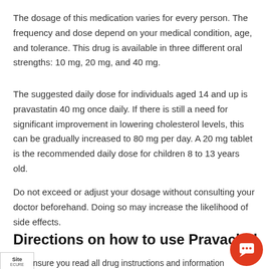The dosage of this medication varies for every person. The frequency and dose depend on your medical condition, age, and tolerance. This drug is available in three different oral strengths: 10 mg, 20 mg, and 40 mg.
The suggested daily dose for individuals aged 14 and up is pravastatin 40 mg once daily. If there is still a need for significant improvement in lowering cholesterol levels, this can be gradually increased to 80 mg per day. A 20 mg tablet is the recommended daily dose for children 8 to 13 years old.
Do not exceed or adjust your dosage without consulting your doctor beforehand. Doing so may increase the likelihood of side effects.
Directions on how to use Pravachol
nsure you read all drug instructions and information carefully.